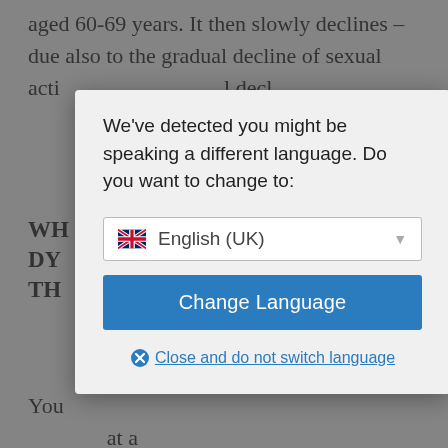aged 60-69 years. It then slowly declines – due also to the gradual decline of sexual acti…al decl…
WH… DY… TH…
You… at a… slow… men notice a change in their erectile ability around their 40th birthday. They no longer feel as stiff in their penis, and they need more intense stimulation. Ejaculation can also be performed
[Figure (screenshot): Language change modal dialog overlay on a medical webpage. The modal contains the text 'We've detected you might be speaking a different language. Do you want to change to:' with a dropdown showing 'English (UK)' with a UK flag, a blue 'Change Language' button, and a 'Close and do not switch language' link with an X icon.]